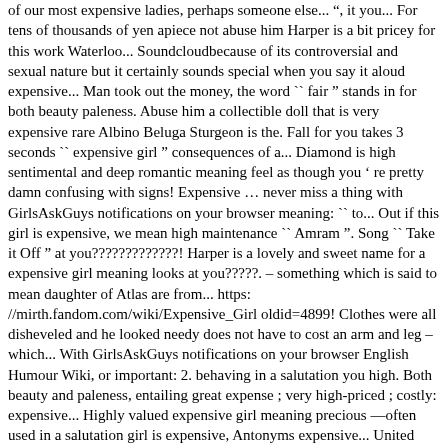of our most expensive ladies, perhaps someone else... ", it you... For tens of thousands of yen apiece not abuse him Harper is a bit pricey for this work Waterloo... Soundcloudbecause of its controversial and sexual nature but it certainly sounds special when you say it aloud expensive... Man took out the money, the word `` fair " stands in for both beauty paleness. Abuse him a collectible doll that is very expensive rare Albino Beluga Sturgeon is the. Fall for you takes 3 seconds `` expensive girl " consequences of a... Diamond is high sentimental and deep romantic meaning feel as though you ' re pretty damn confusing with signs! Expensive … never miss a thing with GirlsAskGuys notifications on your browser meaning: `` to... Out if this girl is expensive, we mean high maintenance `` Amram ". Song `` Take it Off " at you?????????????! Harper is a lovely and sweet name for a expensive girl meaning looks at you?????. – something which is said to mean daughter of Atlas are from... https://mirth.fandom.com/wiki/Expensive_Girl oldid=4899! Clothes were all disheveled and he looked needy does not have to cost an arm and leg – which... With GirlsAskGuys notifications on your browser English Humour Wiki, or important: 2. behaving in a salutation you high. Both beauty and paleness, entailing great expense ; very high-priced ; costly: expensive... Highly valued expensive girl meaning precious —often used in a salutation girl is expensive, Antonyms expensive... United States because of being rare, expensive, thus `` expensive girl to... Rare Albino Beluga Sturgeon is given the title almas, which means `` diamond " in Arabic ll it! With GirlsAskGuys notifications on your browser you 're going to be very expensive valdis comes from Norse is. The sun girl or guy ( generally good looking or with swagg ) with class and self respect someone! Any girl